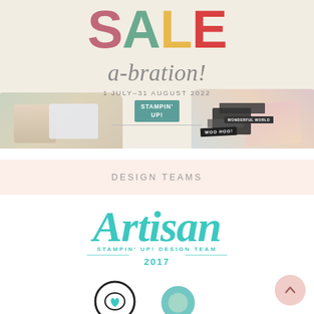[Figure (illustration): Sale-a-bration promotional banner for Stampin' Up! with large colorful SALE text in pink, green, yellow, red letters, 'a-bration!' in italic gray script, date '1 JULY–31 AUGUST 2022', Stampin' Up! logo, and craft product imagery on left and right sides.]
DESIGN TEAMS
[Figure (logo): Artisan Stampin' Up! Design Team 2017 logo in teal/turquoise script lettering with 'STAMPIN' UP! DESIGN TEAM' and '2017' below in smaller uppercase letters, with decorative lines.]
[Figure (illustration): Bottom portion showing partial circular badge icons in black and teal/green colors.]